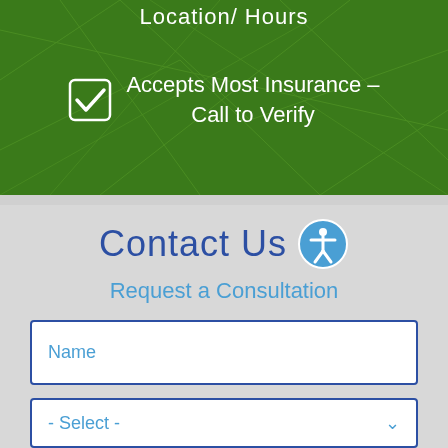Location/ Hours
Accepts Most Insurance - Call to Verify
Contact Us
Request a Consultation
Name
- Select -